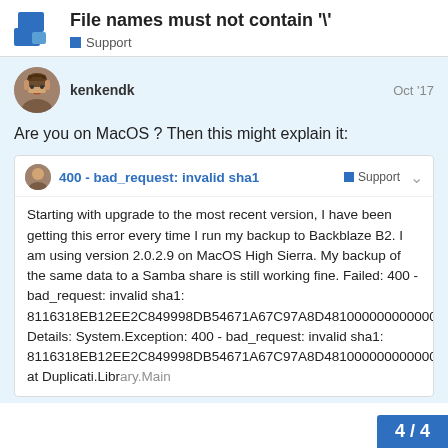File names must not contain '\'
Support
kenkendk
Oct '17
Are you on MacOS ? Then this might explain it:
400 - bad_request: invalid sha1   Support
Starting with upgrade to the most recent version, I have been getting this error every time I run my backup to Backblaze B2. I am using version 2.0.2.9 on MacOS High Sierra. My backup of the same data to a Samba share is still working fine. Failed: 400 - bad_request: invalid sha1: 8116318EB12EE2C849998DB54671A67C97A8D48100000000000000000000000000 Details: System.Exception: 400 - bad_request: invalid sha1: 8116318EB12EE2C849998DB54671A67C97A8D481000000000000000000000000000 at Duplicati.Library.Main
4 / 4